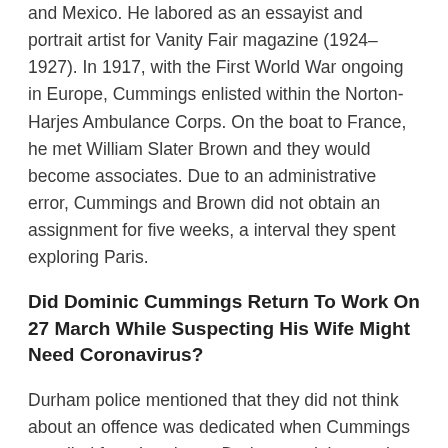and Mexico. He labored as an essayist and portrait artist for Vanity Fair magazine (1924–1927). In 1917, with the First World War ongoing in Europe, Cummings enlisted within the Norton-Harjes Ambulance Corps. On the boat to France, he met William Slater Brown and they would become associates. Due to an administrative error, Cummings and Brown did not obtain an assignment for five weeks, a interval they spent exploring Paris.
Did Dominic Cummings Return To Work On 27 March While Suspecting His Wife Might Need Coronavirus?
Durham police mentioned that they did not think about an offence was dedicated when Cummings travelled from London to Durham and that a minor breach might have occurred in travelling from there to Barnard Castle. The scandal is thought to have affected the general public's trust in the government's pandemic response. A YouGov ballot conducted after his press conference of 25 May, discovered that 71% of the public thought that Cummings had broken the